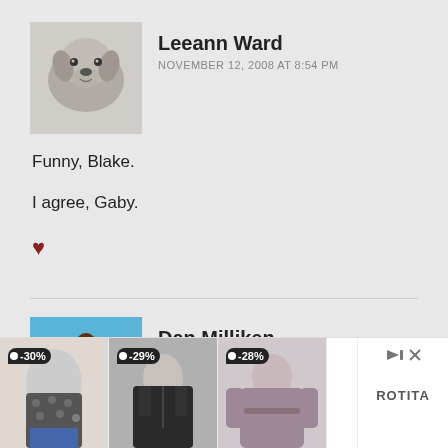[Figure (photo): Black and white photo of a dog (Labrador) used as a comment avatar]
Leeann Ward
NOVEMBER 12, 2008 AT 8:54 PM
Funny, Blake.

I agree, Gaby.

♥
[Figure (illustration): Cartoon illustration of a child character used as a comment avatar]
Dan Milliken
NOVEMBER 12, 2008 AT 8:54 PM
[Figure (photo): Advertisement banner showing clothing items with discount tags (-30%, -29%, -28%) and ROTITA brand]